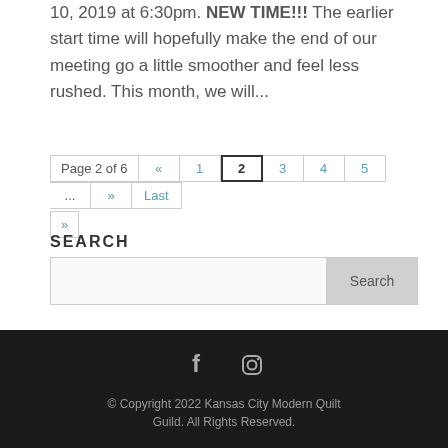10, 2019 at 6:30pm. NEW TIME!!! The earlier start time will hopefully make the end of our meeting go a little smoother and feel less rushed. This month, we will...
Page 2 of 6 « 1 2 3 4 5 ... » Last »
SEARCH
Search
© Copyright 2022 Kansas City Modern Quilt Guild. All Rights Reserved.